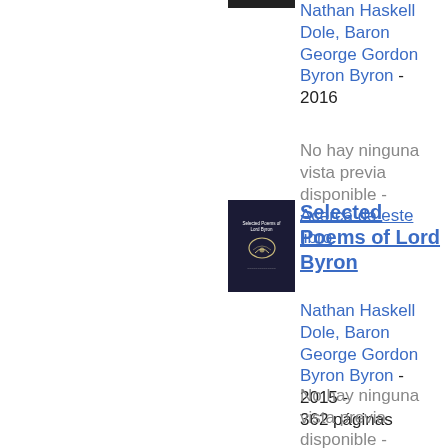[Figure (photo): Book cover thumbnail (partial, cropped at top) for a Lord Byron selected poems edition, dark cover]
Nathan Haskell Dole, Baron George Gordon Byron Byron - 2016
No hay ninguna vista previa disponible - Acerca de este libro
[Figure (photo): Book cover thumbnail for Selected Poems of Lord Byron, dark navy/black cover with wreath emblem and text]
Selected Poems of Lord Byron
Nathan Haskell Dole, Baron George Gordon Byron Byron - 2015 - 362 páginas
No hay ninguna vista previa disponible - Acerca de este libro